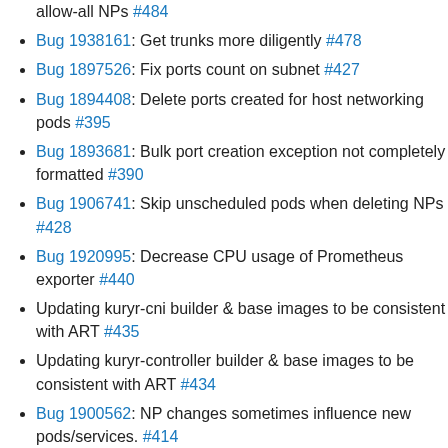allow-all NPs #484
Bug 1938161: Get trunks more diligently #478
Bug 1897526: Fix ports count on subnet #427
Bug 1894408: Delete ports created for host networking pods #395
Bug 1893681: Bulk port creation exception not completely formatted #390
Bug 1906741: Skip unscheduled pods when deleting NPs #428
Bug 1920995: Decrease CPU usage of Prometheus exporter #440
Updating kuryr-cni builder & base images to be consistent with ART #435
Updating kuryr-controller builder & base images to be consistent with ART #434
Bug 1900562: NP changes sometimes influence new pods/services. #414
Bug 1896370: Handle None or {} labels in match_selector() #399